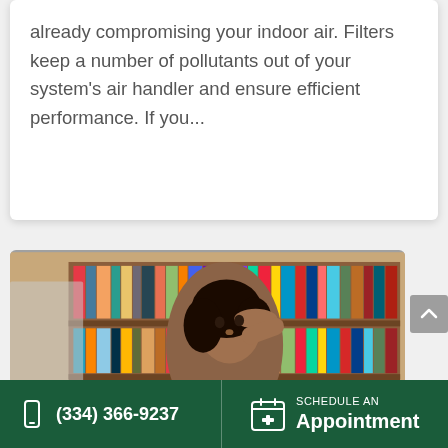already compromising your indoor air. Filters keep a number of pollutants out of your system's air handler and ensure efficient performance. If you...
[Figure (photo): A woman holding her hand to her forehead, looking upward with discomfort, seated in front of a bookshelf filled with colorful books. She appears to be hot or distressed, possibly due to AC issues.]
(334) 366-9237  SCHEDULE AN Appointment